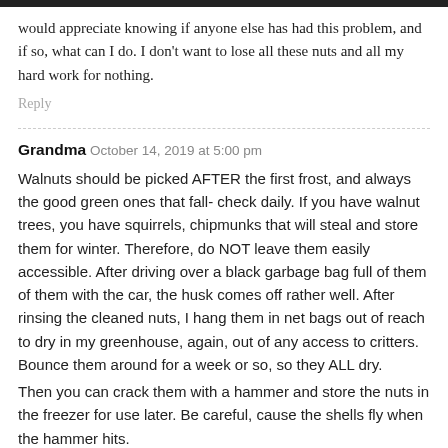would appreciate knowing if anyone else has had this problem, and if so, what can I do. I don't want to lose all these nuts and all my hard work for nothing.
Reply
Grandma  October 14, 2019 at 5:00 pm
Walnuts should be picked AFTER the first frost, and always the good green ones that fall- check daily. If you have walnut trees, you have squirrels, chipmunks that will steal and store them for winter. Therefore, do NOT leave them easily accessible. After driving over a black garbage bag full of them of them with the car, the husk comes off rather well. After rinsing the cleaned nuts, I hang them in net bags out of reach to dry in my greenhouse, again, out of any access to critters. Bounce them around for a week or so, so they ALL dry.
Then you can crack them with a hammer and store the nuts in the freezer for use later. Be careful, cause the shells fly when the hammer hits.